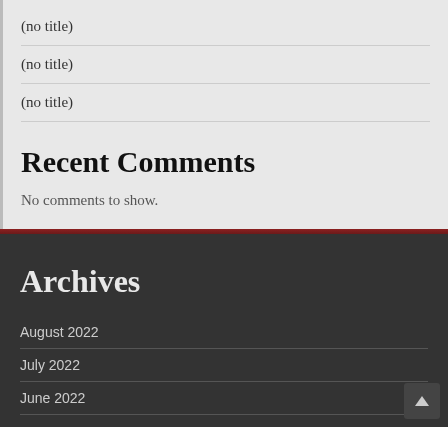(no title)
(no title)
(no title)
Recent Comments
No comments to show.
Archives
August 2022
July 2022
June 2022